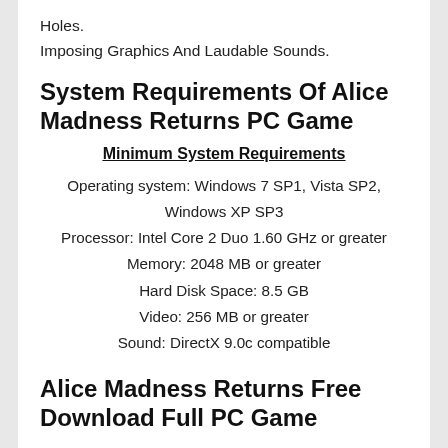Holes.
Imposing Graphics And Laudable Sounds.
System Requirements Of Alice Madness Returns PC Game
Minimum System Requirements
Operating system: Windows 7 SP1, Vista SP2, Windows XP SP3
Processor: Intel Core 2 Duo 1.60 GHz or greater
Memory: 2048 MB or greater
Hard Disk Space: 8.5 GB
Video: 256 MB or greater
Sound: DirectX 9.0c compatible
Alice Madness Returns Free Download Full PC Game